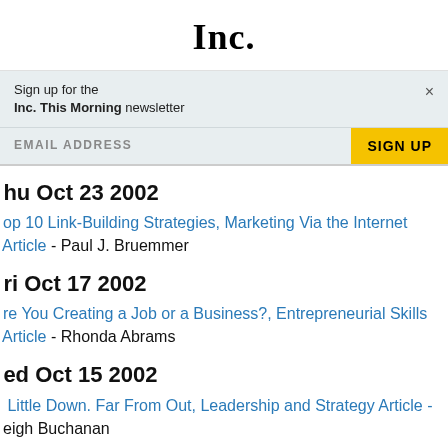Inc.
Sign up for the Inc. This Morning newsletter
EMAIL ADDRESS   SIGN UP
Thu Oct 23 2002
Top 10 Link-Building Strategies, Marketing Via the Internet Article - Paul J. Bruemmer
Fri Oct 17 2002
Are You Creating a Job or a Business?, Entrepreneurial Skills Article - Rhonda Abrams
Wed Oct 15 2002
A Little Down. Far From Out, Leadership and Strategy Article - Leigh Buchanan